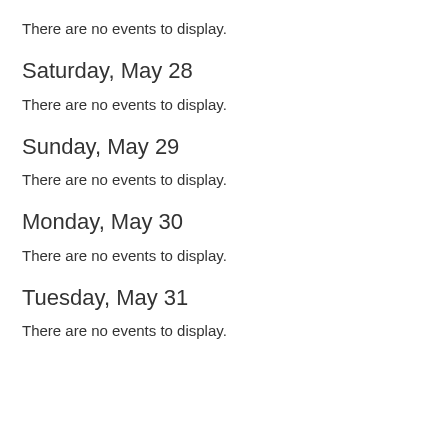There are no events to display.
Saturday, May 28
There are no events to display.
Sunday, May 29
There are no events to display.
Monday, May 30
There are no events to display.
Tuesday, May 31
There are no events to display.